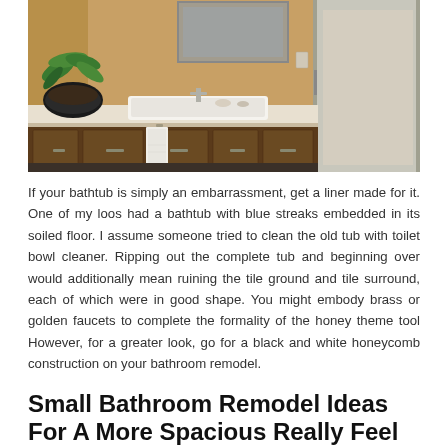[Figure (photo): Modern bathroom with a long white countertop sink, dark wood vanity cabinets with a white towel hanging, a potted green plant in a black bowl on the left, warm tan/beige wall tiles, and a glass shower enclosure on the right.]
If your bathtub is simply an embarrassment, get a liner made for it. One of my loos had a bathtub with blue streaks embedded in its soiled floor. I assume someone tried to clean the old tub with toilet bowl cleaner. Ripping out the complete tub and beginning over would additionally mean ruining the tile ground and tile surround, each of which were in good shape. You might embody brass or golden faucets to complete the formality of the honey theme tool However, for a greater look, go for a black and white honeycomb construction on your bathroom remodel.
Small Bathroom Remodel Ideas For A More Spacious Really Feel